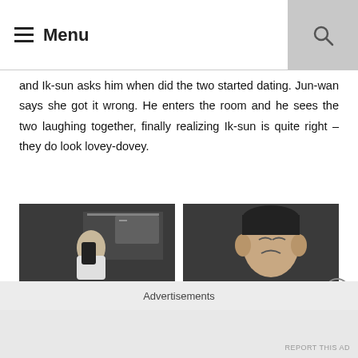Menu
and Ik-sun asks him when did the two started dating. Jun-wan says she got it wrong. He enters the room and he sees the two laughing together, finally realizing Ik-sun is quite right – they do look lovey-dovey.
[Figure (photo): Two screenshot images from a TV show side by side. Left: a man in a white coat appears to be examining something. Right: a child making a pained or crying expression with hands on their cheeks.]
A few minutes later, U-ju comes running to his dad. He instantly burst into tears and hugs Ik-jun tightly. Aunt Wang informs Ik-jun that U-ju never once brought up how much he missed his dad at home but apparently, U-ju is just holding it in. Ik-jun assures his universe that he's totally fine now. (darn, I didn't—
Advertisements